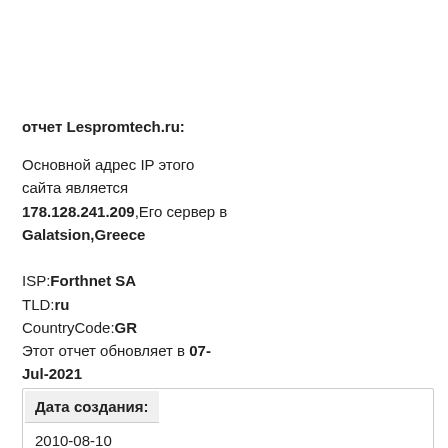отчет Lespromtech.ru:
Основной адрес IP этого сайта является 178.128.241.209,Его сервер в Galatsion,Greece

ISP:Forthnet SA
TLD:ru
CountryCode:GR
Этот отчет обновляет в 07-Jul-2021
| Дата создания: |
| --- |
| 2010-08-10 |